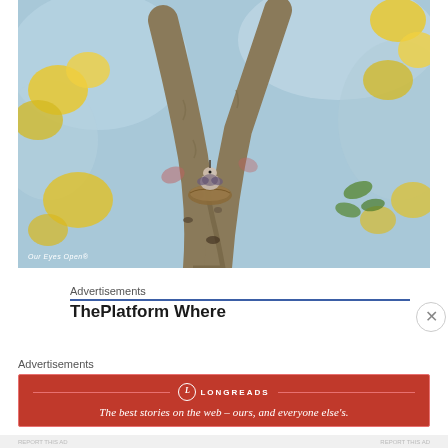[Figure (photo): A hummingbird sitting in a nest built in the fork of a tree branch, surrounded by blurred yellow flowers and blue sky background. Watermark reads 'Our Eyes Open®' in bottom left.]
Our Eyes Open®
Advertisements
ThePlatform Where
Advertisements
[Figure (logo): Longreads advertisement banner in red with tagline: The best stories on the web – ours, and everyone else's.]